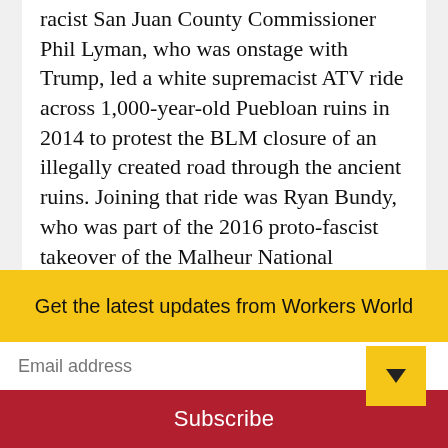racist San Juan County Commissioner Phil Lyman, who was onstage with Trump, led a white supremacist ATV ride across 1,000-year-old Puebloan ruins in 2014 to protest the BLM closure of an illegally created road through the ancient ruins. Joining that ride was Ryan Bundy, who was part of the 2016 proto-fascist takeover of the Malheur National Wildlife Refuge. During that takeover, white supremacists plowed over Paiute ruins to create a latrine and pillaged precious preserved artifacts.
Get the latest updates from Workers World
Email address
Subscribe